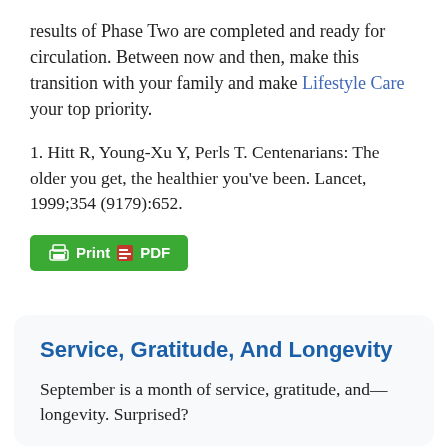results of Phase Two are completed and ready for circulation. Between now and then, make this transition with your family and make Lifestyle Care your top priority.
1. Hitt R, Young-Xu Y, Perls T. Centenarians: The older you get, the healthier you've been. Lancet, 1999;354 (9179):652.
[Figure (other): Green print/PDF button with printer icon and PDF icon]
Service, Gratitude, And Longevity
September is a month of service, gratitude, and—longevity. Surprised?